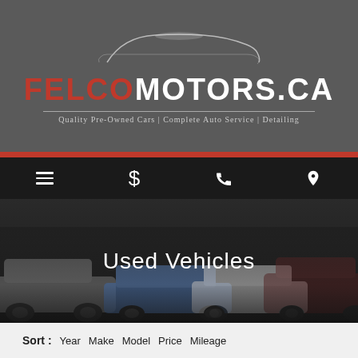[Figure (logo): FelcoMotors.ca logo with car silhouette, red and white text, tagline: Quality Pre-Owned Cars | Complete Auto Service | Detailing]
[Figure (infographic): Dark navigation bar with hamburger menu, dollar sign, phone, and location pin icons]
[Figure (photo): Dark hero image showing multiple used vehicles (SUV, sedans) with overlay text 'Used Vehicles']
Sort : Year  Make  Model  Price  Mileage